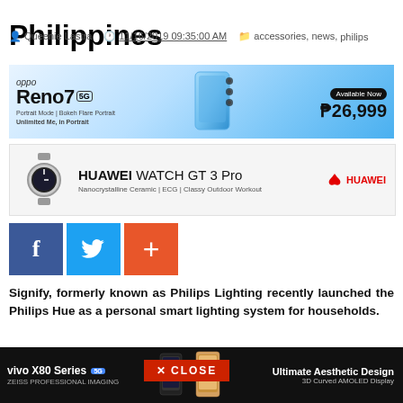Philippines
Queenie Lastra  11/16/2019 09:35:00 AM  accessories, news, philips
[Figure (photo): OPPO Reno7 5G advertisement banner with phone image and price ₱26,999]
[Figure (photo): Huawei Watch GT 3 Pro advertisement banner]
[Figure (infographic): Social share buttons: Facebook (blue), Twitter (light blue), Google+ (orange/red)]
Signify, formerly known as Philips Lighting recently launched the Philips Hue as a personal smart lighting system for households.
[Figure (photo): Dark wood texture background image with red CLOSE button overlay]
[Figure (photo): vivo X80 Series 5G advertisement bar at bottom with phone images, ZEISS Professional Imaging branding, and Ultimate Aesthetic Design / 3D Curved AMOLED Display text]